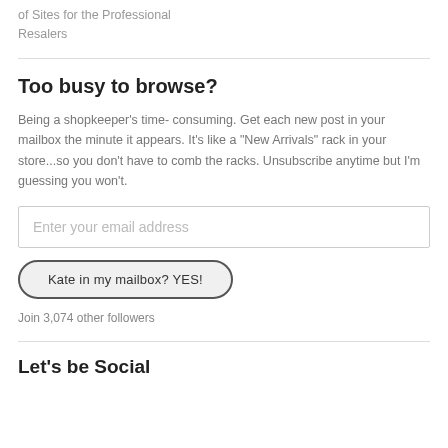of Sites for the Professional Resalers
Too busy to browse?
Being a shopkeeper's time- consuming. Get each new post in your mailbox the minute it appears. It's like a "New Arrivals" rack in your store...so you don't have to comb the racks. Unsubscribe anytime but I'm guessing you won't.
Enter your email address
Kate in my mailbox? YES!
Join 3,074 other followers
Let's be Social